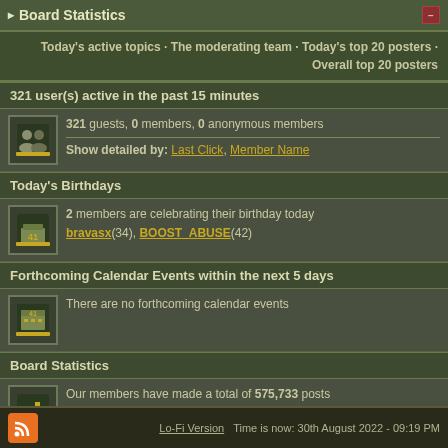Board Statistics
Today's active topics · The moderating team · Today's top 20 posters · Overall top 20 posters
321 user(s) active in the past 15 minutes
321 guests, 0 members, 0 anonymous members
Show detailed by: Last Click, Member Name
Today's Birthdays
2 members are celebrating their birthday today
bravasx(34), BOOST_ABUSE(42)
Forthcoming Calendar Events within the next 5 days
There are no forthcoming calendar events
Board Statistics
Our members have made a total of 575,733 posts
We have 5,902 registered members
The newest member is harrypotter7
Most users ever online was 31,490 on Apr 2 2016, 03:15 AM
Lo-Fi Version  Time is now: 30th August 2022 - 09:19 PM